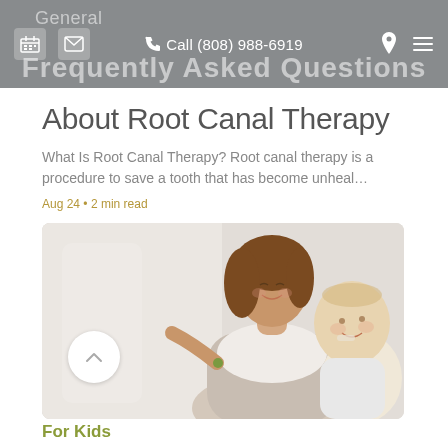General | Frequently Asked Questions | Call (808) 988-6919
About Root Canal Therapy
What Is Root Canal Therapy? Root canal therapy is a procedure to save a tooth that has become unheal…
Aug 24 • 2 min read
[Figure (photo): A woman smiling and holding a baby, on a light background. Mother-and-child dental/health themed image.]
For Kids